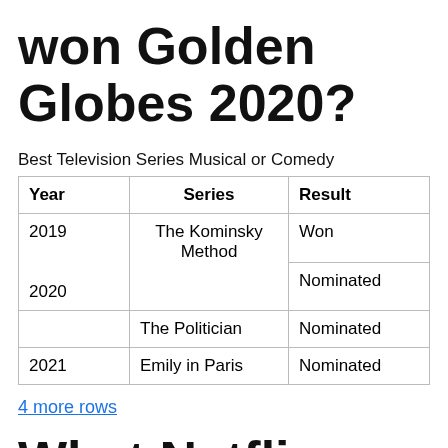won Golden Globes 2020?
Best Television Series Musical or Comedy
| Year | Series | Result |
| --- | --- | --- |
| 2019 | The Kominsky Method | Won |
|  | The Kominsky Method | Nominated |
| 2020 | The Politician | Nominated |
| 2021 | Emily in Paris | Nominated |
4 more rows
What Netflix shows